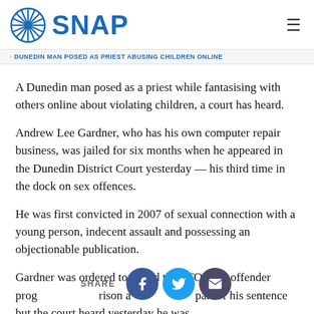SNAP
DUNEDIN MAN POSED AS PRIEST ABUSING CHILDREN ONLINE
A Dunedin man posed as a priest while fantasising with others online about violating children, a court has heard.
Andrew Lee Gardner, who has his own computer repair business, was jailed for six months when he appeared in the Dunedin District Court yesterday — his third time in the dock on sex offences.
He was first convicted in 2007 of sexual connection with a young person, indecent assault and possessing an objectionable publication.
Gardner was ordered to attend the STOP sex offender programme in prison as part of his sentence but the court heard yesterday he was